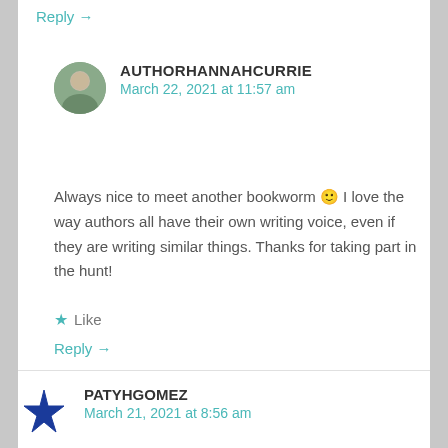Reply →
AUTHORHANNAHCURRIE
March 22, 2021 at 11:57 am
Always nice to meet another bookworm 🙂 I love the way authors all have their own writing voice, even if they are writing similar things. Thanks for taking part in the hunt!
★ Like
Reply →
PATYHGOMEZ
March 21, 2021 at 8:56 am